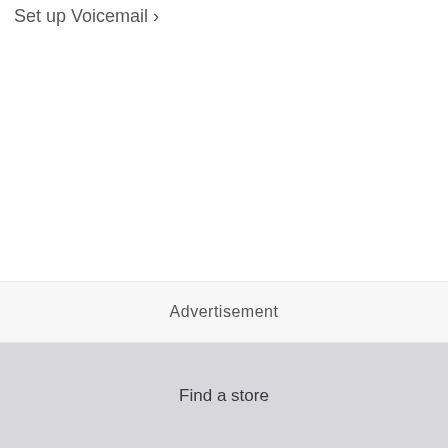Set up Voicemail >
Advertisement
Find a store